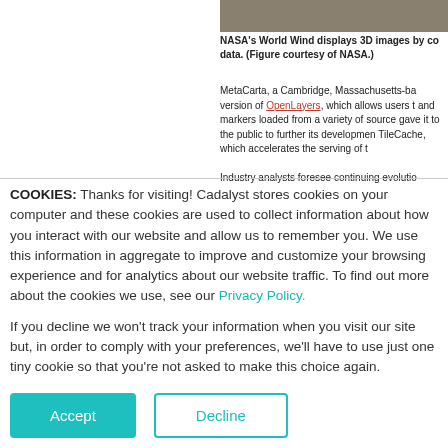[Figure (photo): Partial aerial/satellite image visible at top right of page]
NASA's World Wind displays 3D images by co data. (Figure courtesy of NASA.)
MetaCarta, a Cambridge, Massachusetts-ba version of OpenLayers, which allows users t and markers loaded from a variety of source gave it to the public to further its developmen TileCache, which accelerates the serving of t Industry analysts foresee continuing evolutio
COOKIES: Thanks for visiting! Cadalyst stores cookies on your computer and these cookies are used to collect information about how you interact with our website and allow us to remember you. We use this information in aggregate to improve and customize your browsing experience and for analytics about our website traffic. To find out more about the cookies we use, see our Privacy Policy.
If you decline we won't track your information when you visit our site but, in order to comply with your preferences, we'll have to use just one tiny cookie so that you're not asked to make this choice again.